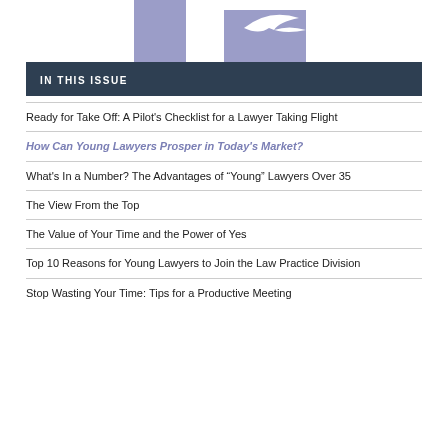[Figure (logo): Partial logo with purple/lavender geometric shapes and a bird silhouette]
IN THIS ISSUE
Ready for Take Off: A Pilot’s Checklist for a Lawyer Taking Flight
How Can Young Lawyers Prosper in Today’s Market?
What’s In a Number? The Advantages of “Young” Lawyers Over 35
The View From the Top
The Value of Your Time and the Power of Yes
Top 10 Reasons for Young Lawyers to Join the Law Practice Division
Stop Wasting Your Time: Tips for a Productive Meeting